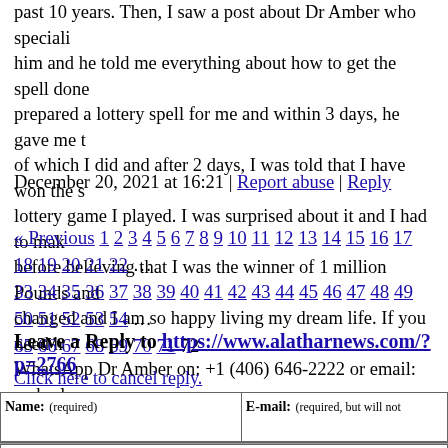past 10 years. Then, I saw a post about Dr Amber who speciall him and he told me everything about how to get the spell done prepared a lottery spell for me and within 3 days, he gave me t of which I did and after 2 days, I was told that I have won the s lottery game I played. I was surprised about it and I had to mak before believing that I was the winner of 1 million Pounds and changed and I am so happy living my dream life. If you need h WhatsApp Dr Amber on: +1 (406) 646-2222 or email: amberlo
December 20, 2021 at 16:21 | Report abuse | Reply
« Previous 1 2 3 4 5 6 7 8 9 10 11 12 13 14 15 16 17 18 19 20 21 22 ... 33 34 35 36 37 38 39 40 41 42 43 44 45 46 47 48 49 50 51 52 53 54 ... 65 66 67 68 69 70 71 72
Leave a Reply to https://www.alatharnews.com/?p=2766
Click here to cancel reply.
| Name: (required) | E-mail: (required, but will not be published) |
| --- | --- |
|  |  |